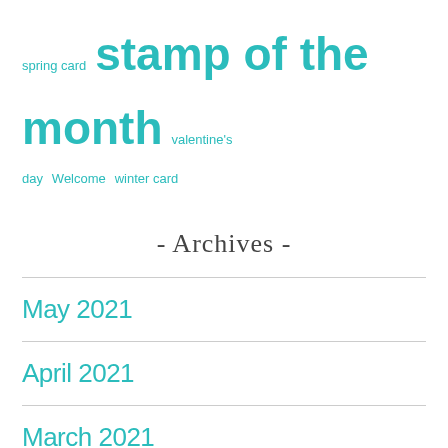spring card  stamp of the month  valentine's day  Welcome  winter card
- Archives -
May 2021
April 2021
March 2021
February 2021
- Instagram -